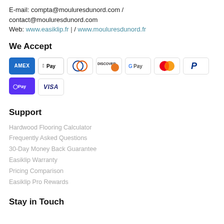E-mail: compta@mouluresdunord.com / contact@mouluresdunord.com
Web: www.easiklip.fr | / www.mouluresdunord.fr
We Accept
[Figure (other): Payment method icons: AMEX, Apple Pay, Diners Club, Discover, Google Pay, Mastercard, PayPal, Shop Pay, Visa]
Support
Hardwood Flooring Calculator
Frequently Asked Questions
30-Day Money Back Guarantee
Easiklip Warranty
Pricing Comparison
Easiklip Pro Rewards
Stay in Touch